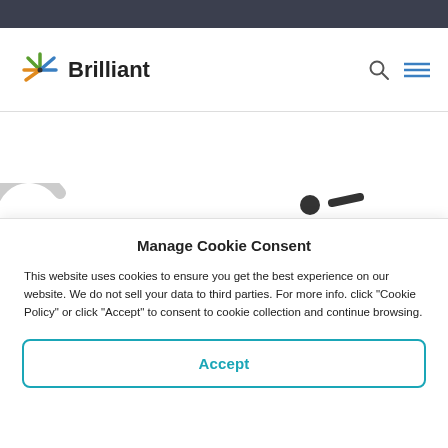[Figure (logo): Brilliant logo with colorful starburst icon and bold 'Brilliant' text]
Manage Cookie Consent
This website uses cookies to ensure you get the best experience on our website. We do not sell your data to third parties. For more info. click "Cookie Policy" or click "Accept" to consent to cookie collection and continue browsing.
Accept